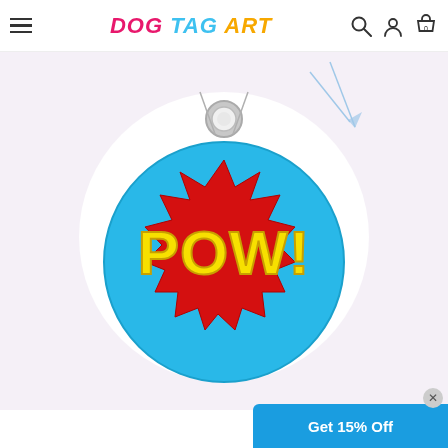Dog Tag Art — navigation header with logo and icons
[Figure (photo): Product photo of a round blue dog tag with a comic-book style 'POW!' graphic — red starburst shape with yellow bold text reading 'POW!' on a sky-blue circular tag with a silver ring loop at the top. Background is lavender/white with decorative light-blue swirl and lines.]
Get 15% Off